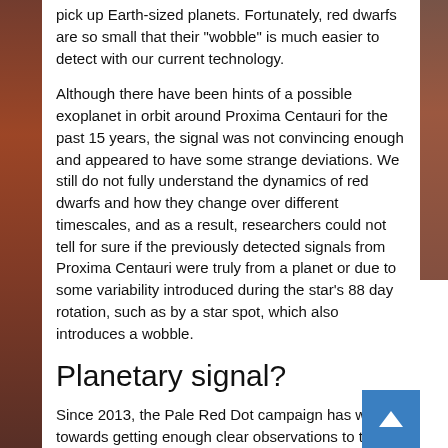pick up Earth-sized planets. Fortunately, red dwarfs are so small that their "wobble" is much easier to detect with our current technology.
Although there have been hints of a possible exoplanet in orbit around Proxima Centauri for the past 15 years, the signal was not convincing enough and appeared to have some strange deviations. We still do not fully understand the dynamics of red dwarfs and how they change over different timescales, and as a result, researchers could not tell for sure if the previously detected signals from Proxima Centauri were truly from a planet or due to some variability introduced during the star's 88 day rotation, such as by a star spot, which also introduces a wobble.
Planetary signal?
Since 2013, the Pale Red Dot campaign has worked towards getting enough clear observations to tell for